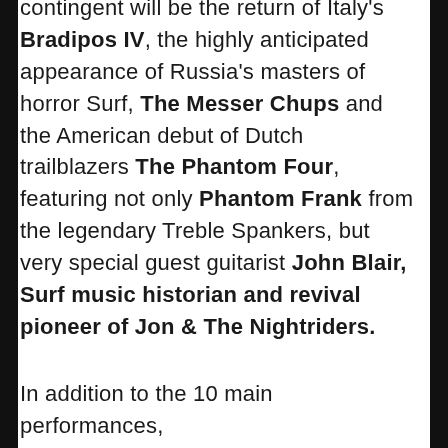contingent will be the return of Italy's Bradipos IV, the highly anticipated appearance of Russia's masters of horror Surf, The Messer Chups and the American debut of Dutch trailblazers The Phantom Four, featuring not only Phantom Frank from the legendary Treble Spankers, but very special guest guitarist John Blair, Surf music historian and revival pioneer of Jon & The Nightriders.
In addition to the 10 main performances, there will be…